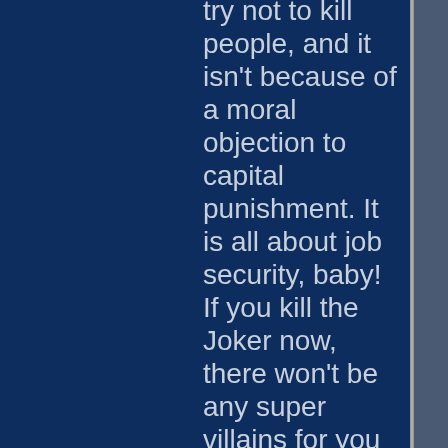try not to kill people, and it isn't because of a moral objection to capital punishment. It is all about job security, baby! If you kill the Joker now, there won't be any super villains for you to defeat tomorrow. People have to suffer and die just because